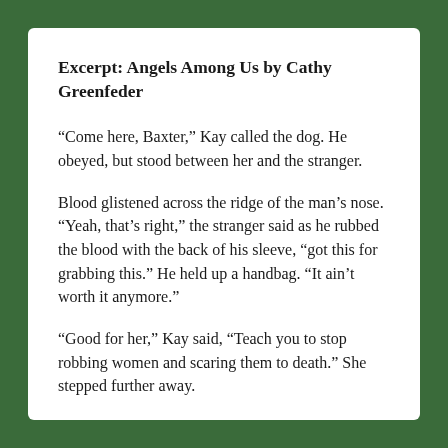Excerpt: Angels Among Us by Cathy Greenfeder
“Come here, Baxter,” Kay called the dog. He obeyed, but stood between her and the stranger.
Blood glistened across the ridge of the man’s nose. “Yeah, that’s right,” the stranger said as he rubbed the blood with the back of his sleeve, “got this for grabbing this.” He held up a handbag. “It ain’t worth it anymore.”
“Good for her,” Kay said, “Teach you to stop robbing women and scaring them to death.” She stepped further away.